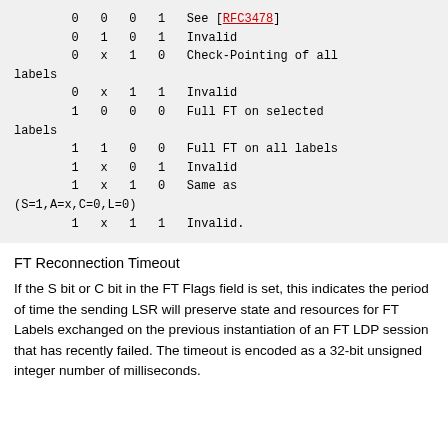0  0  0  1   See [RFC3478]
0  1  0  1   Invalid
0  x  1  0   Check-Pointing of all labels
0  x  1  1   Invalid
1  0  0  0   Full FT on selected labels
1  1  0  0   Full FT on all labels
1  x  0  1   Invalid
1  x  1  0   Same as (S=1,A=x,C=0,L=0)
1  x  1  1   Invalid.
FT Reconnection Timeout
If the S bit or C bit in the FT Flags field is set, this indicates the period of time the sending LSR will preserve state and resources for FT Labels exchanged on the previous instantiation of an FT LDP session that has recently failed. The timeout is encoded as a 32-bit unsigned integer number of milliseconds.